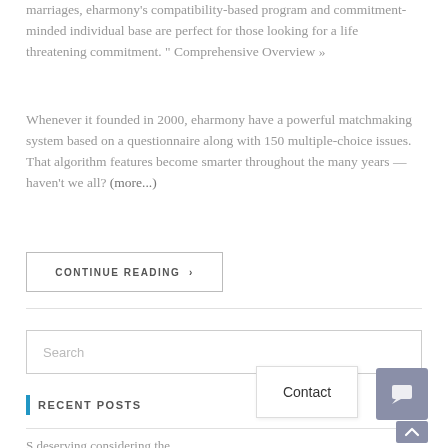marriages, eharmony's compatibility-based program and commitment-minded individual base are perfect for those looking for a life threatening commitment. " Comprehensive Overview »
Whenever it founded in 2000, eharmony have a powerful matchmaking system based on a questionnaire along with 150 multiple-choice issues. That algorithm features become smarter throughout the many years — haven't we all? (more...)
CONTINUE READING ›
Search
RECENT POSTS
S deserving considering the